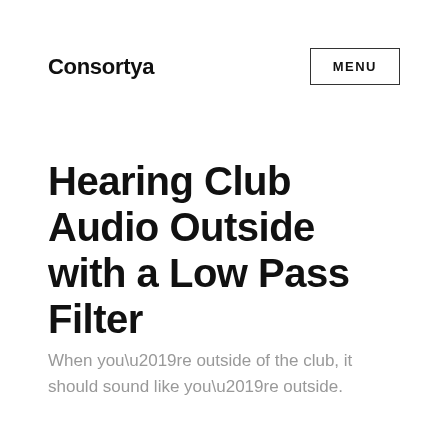Consortya
Hearing Club Audio Outside with a Low Pass Filter
When you’re outside of the club, it should sound like you’re outside.